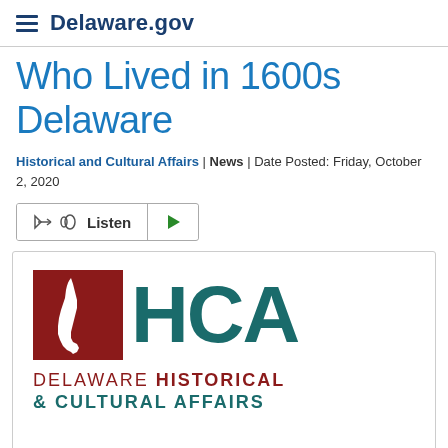Delaware.gov
Who Lived in 1600s Delaware
Historical and Cultural Affairs | News | Date Posted: Friday, October 2, 2020
[Figure (logo): Listen audio player button with play control]
[Figure (logo): HCA Delaware Historical & Cultural Affairs logo with dark red square containing Delaware state silhouette and teal HCA letters]